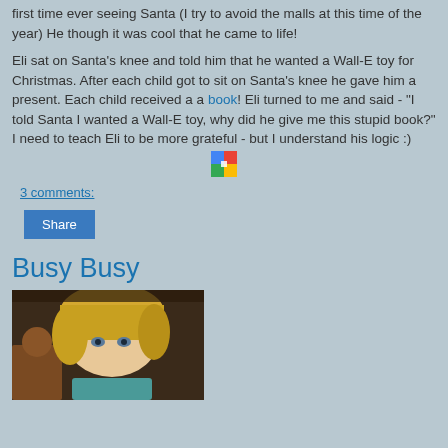first time ever seeing Santa (I try to avoid the malls at this time of the year) He though it was cool that he came to life!
Eli sat on Santa's knee and told him that he wanted a Wall-E toy for Christmas. After each child got to sit on Santa's knee he gave him a present. Each child received a a book! Eli turned to me and said - "I told Santa I wanted a Wall-E toy, why did he give me this stupid book?" I need to teach Eli to be more grateful - but I understand his logic :)
[Figure (logo): Picasa photo album icon/logo]
3 comments:
Share
Busy Busy
[Figure (photo): Photo of a blonde girl sitting at a table, wearing a teal shirt, with wooden furniture in the background]